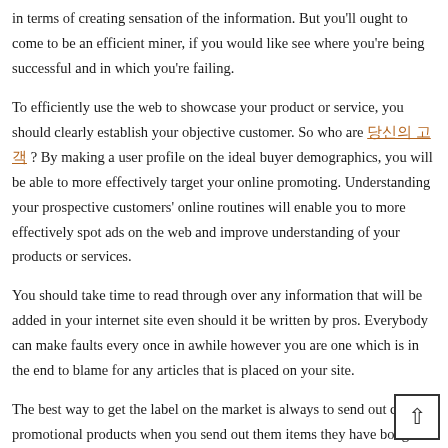in terms of creating sensation of the information. But you'll ought to come to be an efficient miner, if you would like see where you're being successful and in which you're failing.
To efficiently use the web to showcase your product or service, you should clearly establish your objective customer. So who are 당신의 고객 ? By making a user profile on the ideal buyer demographics, you will be able to more effectively target your online promoting. Understanding your prospective customers' online routines will enable you to more effectively spot ads on the web and improve understanding of your products or services.
You should take time to read through over any information that will be added in your internet site even should it be written by pros. Everybody can make faults every once in awhile however you are one which is in the end to blame for any articles that is placed on your site.
The best way to get the label on the market is always to send out cust promotional products when you send out them items they have bough. Even